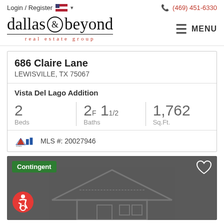Login / Register  (469) 451-6330
[Figure (logo): Dallas & Beyond Real Estate Group logo with ampersand in circle]
686 Claire Lane
LEWISVILLE, TX 75067
Vista Del Lago Addition
2 Beds  2F 1 1/2 Baths  1,762 Sq.Ft.
MLS #: 20027946
[Figure (photo): Property photo area with dark background, house watermark, Contingent badge in green, heart icon, accessibility icon]